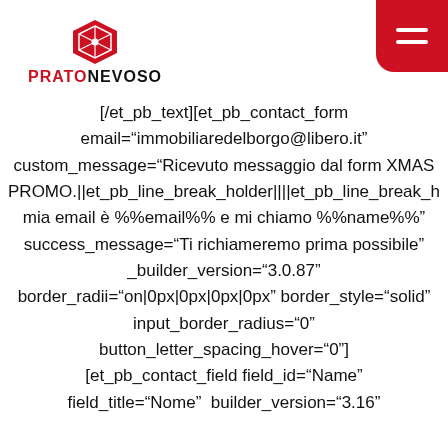PRATONEVOSO
[/et_pb_text][et_pb_contact_form email="immobiliaredelborgo@libero.it" custom_message="Ricevuto messaggio dal form XMAS PROMO.||et_pb_line_break_holder||||et_pb_line_break_h mia email è %%email%% e mi chiamo %%name%%" success_message="Ti richiameremo prima possibile" _builder_version="3.0.87" border_radii="on|0px|0px|0px|0px" border_style="solid" input_border_radius="0" button_letter_spacing_hover="0"] [et_pb_contact_field field_id="Name" field_title="Nome" builder_version="3.16"